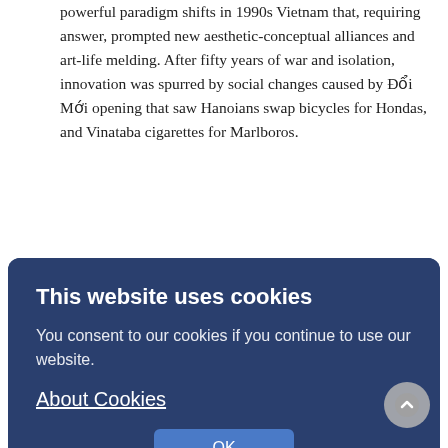powerful paradigm shifts in 1990s Vietnam that, requiring answer, prompted new aesthetic-conceptual alliances and art-life melding. After fifty years of war and isolation, innovation was spurred by social changes caused by Đổi Mới opening that saw Hanoians swap bicycles for Hondas, and Vinataba cigarettes for Marlboros.
Creators had no artistic model – commercial opening did not bring current global art until the ... paradox were propeller and subject of novel approaches, even ... creative response to shared local context as a key shaper of expressive renewal. Vanguard practitioners were few, and formed no ... making pieces responding thinkingly to the sharing ... they redirected Vietnamese art history ... ducing contemporary art. Moreover, inventing
[Figure (screenshot): Cookie consent dialog overlay with dark blue background. Title: 'This website uses cookies'. Body text: 'You consent to our cookies if you continue to use our website.' Link: 'About Cookies'. Button: 'OK']
conceptual aesthetics endogenously, they disrupted the notion that innovation in Asian art inevitably springs from Euramerican models, as was the case with the transfer of Euramerican oil painting to Asia. Vietnamese contemporary art